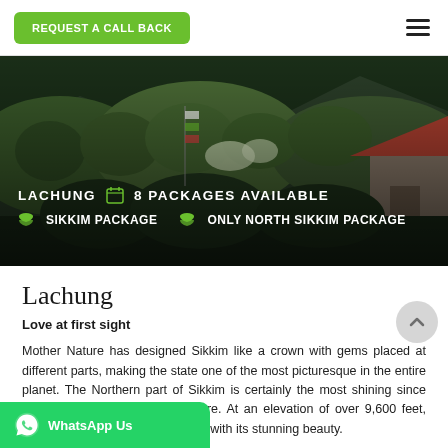REQUEST A CALL BACK
[Figure (photo): Scenic mountain landscape of Lachung, Sikkim, showing green forested hills, a building with triangular roof on the right, prayer flags, and lush vegetation. Overlaid with text: LACHUNG, 8 PACKAGES AVAILABLE, SIKKIM PACKAGE, ONLY NORTH SIKKIM PACKAGE.]
Lachung
Love at first sight
Mother Nature has designed Sikkim like a crown with gems placed at different parts, making the state one of the most picturesque in the entire planet. The Northern part of Sikkim is certainly the most shining since the biggest gems are placed here. At an elevation of over 9,600 feet, Lachung is one such gem visitors with its stunning beauty.